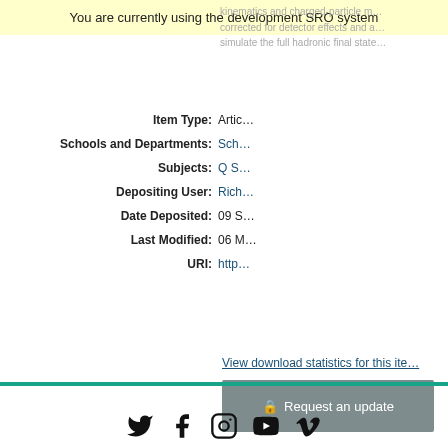You are currently using the development SRO system
kinematics and charged-particle m... corrected for detector effects and a... simulate the full hadronic final state...
| Field | Value |
| --- | --- |
| Item Type: | Artic... |
| Schools and Departments: | Sch... |
| Subjects: | Q S... |
| Depositing User: | Rich... |
| Date Deposited: | 09 S... |
| Last Modified: | 06 M... |
| URI: | http... |
View download statistics for this item
Request an update
[Figure (illustration): Social media icons: Twitter, Facebook, Instagram, YouTube, Vimeo]